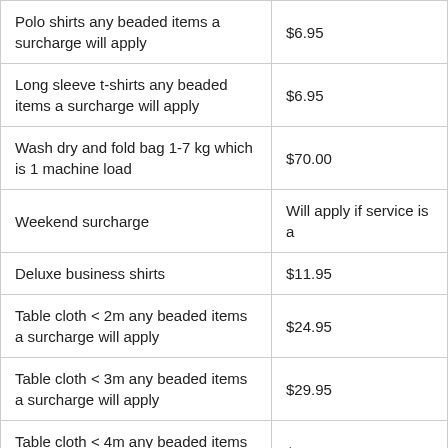| Item | Price |
| --- | --- |
| Polo shirts any beaded items a surcharge will apply | $6.95 |
| Long sleeve t-shirts any beaded items a surcharge will apply | $6.95 |
| Wash dry and fold bag 1-7 kg which is 1 machine load | $70.00 |
| Weekend surcharge | Will apply if service is a |
| Deluxe business shirts | $11.95 |
| Table cloth < 2m any beaded items a surcharge will apply | $24.95 |
| Table cloth < 3m any beaded items a surcharge will apply | $29.95 |
| Table cloth < 4m any beaded items a surcharge will apply | $34.95 |
| Table cloth < 5m any beaded items a |  |